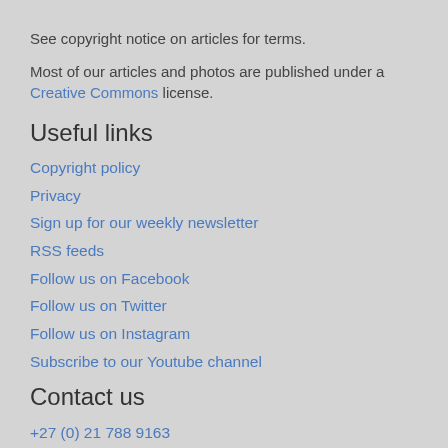See copyright notice on articles for terms.
Most of our articles and photos are published under a Creative Commons license.
Useful links
Copyright policy
Privacy
Sign up for our weekly newsletter
RSS feeds
Follow us on Facebook
Follow us on Twitter
Follow us on Instagram
Subscribe to our Youtube channel
Contact us
+27 (0) 21 788 9163
info@groundup.org.za
Suite 08, 1st floor
South Block, Tannery Park